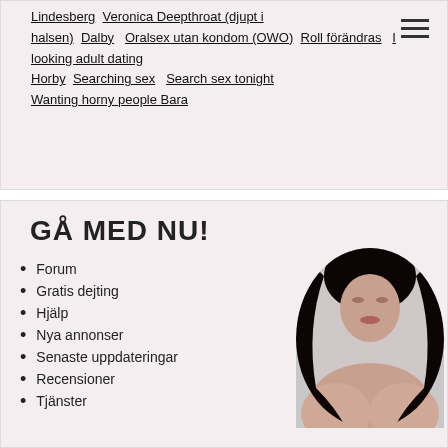Lindesberg  Veronica Deepthroat (djupt i halsen)  Dalby  Oralsex utan kondom (OWO)  Roll förändras  I looking adult dating  Horby  Searching sex  Search sex tonight  Wanting horny people Bara
GÅ MED NU!
Forum
Gratis dejting
Hjälp
Nya annonser
Senaste uppdateringar
Recensioner
Tjänster
[Figure (photo): Circular portrait photo of a dark-haired woman]